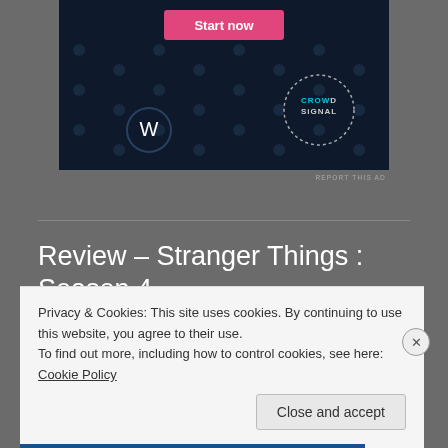[Figure (screenshot): WordPress and CrowdSignal advertisement banner with dark navy background, polka dots, a pink 'Start now' button, WordPress logo circle, and CrowdSignal dashed circle logo]
REPORT THIS AD
Review – Stranger Things : Season 4
JUNE 2, 2022 / LEAVE A COMMENT
Privacy & Cookies: This site uses cookies. By continuing to use this website, you agree to their use.
To find out more, including how to control cookies, see here:
Cookie Policy
Close and accept